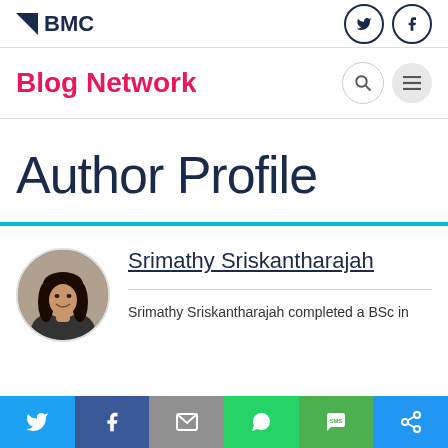BMC
Blog Network
Author Profile
[Figure (photo): Circular profile photo of Srimathy Sriskantharajah, a woman with long dark hair, smiling]
Srimathy Sriskantharajah
Srimathy Sriskantharajah completed a BSc in
[Figure (infographic): Social media share bar with Twitter, Facebook, Email, WhatsApp, SMS, and Share icons]